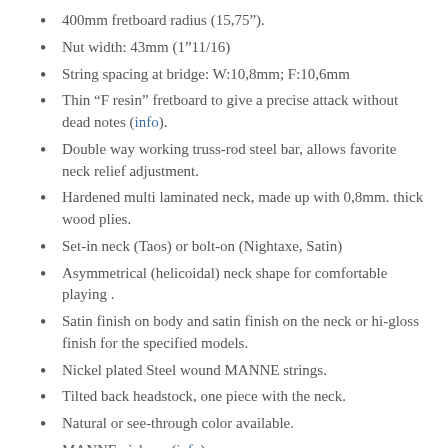400mm fretboard radius (15,75”).
Nut width: 43mm (1”11/16)
String spacing at bridge: W:10,8mm; F:10,6mm
Thin “F resin” fretboard to give a precise attack without dead notes (info).
Double way working truss-rod steel bar, allows favorite neck relief adjustment.
Hardened multi laminated neck, made up with 0,8mm. thick wood plies.
Set-in neck (Taos) or bolt-on (Nightaxe, Satin)
Asymmetrical (helicoidal) neck shape for comfortable playing .
Satin finish on body and satin finish on the neck or hi-gloss finish for the specified models.
Nickel plated Steel wound MANNE strings.
Tilted back headstock, one piece with the neck.
Natural or see-through color available.
MANNE pickups (info).
Weight: Standard 3,4 Kg, Ash 3,6 Kg, Special Burl 4 Kg
All wrenches and tools included with instruction notes on